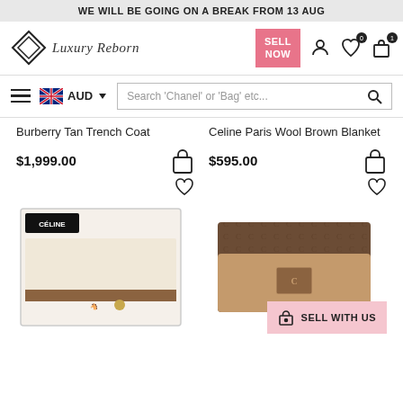WE WILL BE GOING ON A BREAK FROM 13 AUG
[Figure (logo): Luxury Reborn logo with diamond geometric mark and cursive script text]
SELL NOW button, user icon, wishlist icon (0), cart icon (1)
Hamburger menu, Australian flag AUD currency selector, Search 'Chanel' or 'Bag' etc... search bar
Burberry Tan Trench Coat
Celine Paris Wool Brown Blanket
$1,999.00
$595.00
[Figure (photo): Celine Paris Wool Brown Blanket product in white box packaging with horse carriage logo]
[Figure (photo): Brown monogram wallet product with tan leather flap closure]
SELL WITH US